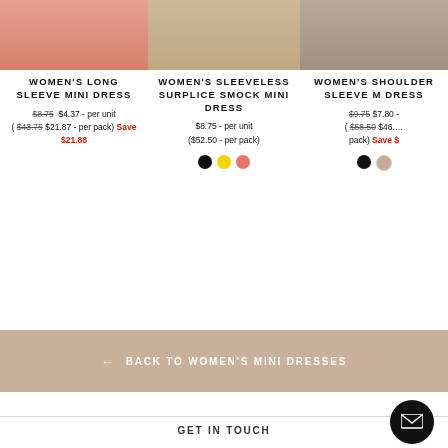[Figure (photo): Top portion of women's long sleeve mini dress product photo - salmon/coral colored dress on model]
WOMEN'S LONG SLEEVE MINI DRESS
$8.75  $4.37 - per unit ( $43.75  $21.87 - per pack)  Save $21.88
[Figure (photo): Top portion of women's sleeveless surplice smock mini dress product photo on model]
WOMEN'S SLEEVELESS SURPLICE SMOCK MINI DRESS
$8.75 - per unit ($52.50 - per pack)
[Figure (photo): Top portion of women's shoulder sleeve mini dress product photo on model]
WOMEN'S SHOULDER SLEEVE M... DRESS
$9.75  $7.80 - ( $58.50  $46... pack)  Save $...
← BACK TO WOMEN'S MINI DRESSES
GET IN TOUCH